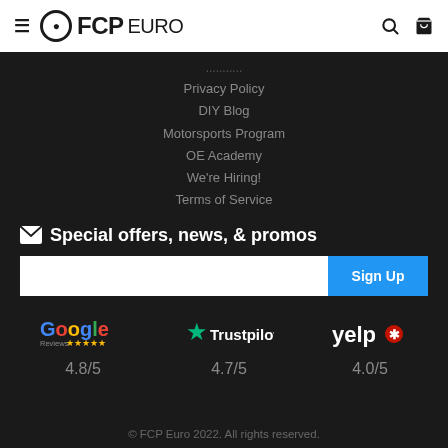≡ FCP EURO [search] [cart]
Privacy Policy
DIY Blog
Motorsports Program
OE Academy
We're Hiring!
Terms of Service
Special offers, news, & promos
Sign Up [email input field]
[Figure (logo): Google Reviews logo with 5 yellow stars rating badge]
4.8/5
[Figure (logo): Trustpilot logo with green star]
4.7/5
[Figure (logo): Yelp logo with red burst icon]
4.0/5
© FCP Euro 2022. All rights reserved.